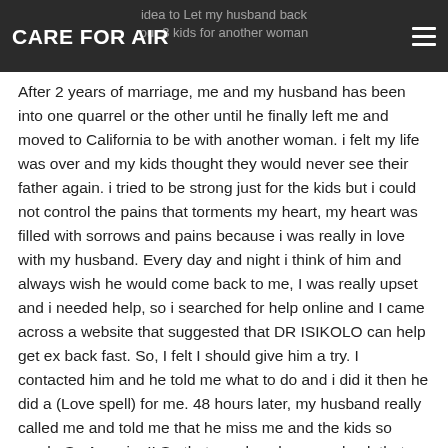CARE FOR AIR
After 2 years of marriage, me and my husband has been into one quarrel or the other until he finally left me and moved to California to be with another woman. i felt my life was over and my kids thought they would never see their father again. i tried to be strong just for the kids but i could not control the pains that torments my heart, my heart was filled with sorrows and pains because i was really in love with my husband. Every day and night i think of him and always wish he would come back to me, I was really upset and i needed help, so i searched for help online and I came across a website that suggested that DR ISIKOLO can help get ex back fast. So, I felt I should give him a try. I contacted him and he told me what to do and i did it then he did a (Love spell) for me. 48 hours later, my husband really called me and told me that he miss me and the kids so much, So Amazing!! So that was how he came back that same day,with lots of love and joy,and he apologized for his mistake, and for the pain he caused